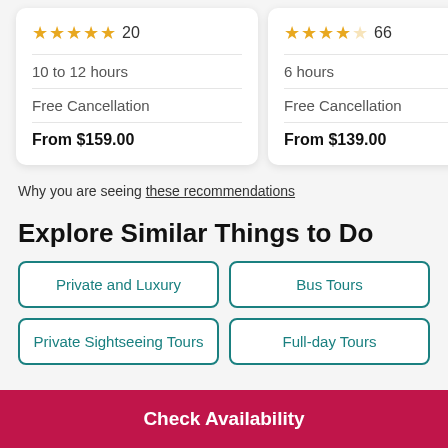★★★★★ 20 | 10 to 12 hours | Free Cancellation | From $159.00
★★★★☆ 66 | 6 hours | Free Cancellation | From $139.00
☆☆ | 4 ho... | Free... | From...
Why you are seeing these recommendations
Explore Similar Things to Do
Private and Luxury
Bus Tours
Private Sightseeing Tours
Full-day Tours
Check Availability